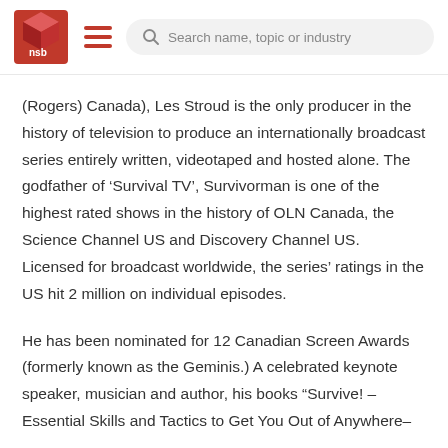NSB logo, hamburger menu, Search name, topic or industry
(Rogers) Canada), Les Stroud is the only producer in the history of television to produce an internationally broadcast series entirely written, videotaped and hosted alone. The godfather of ‘Survival TV’, Survivorman is one of the highest rated shows in the history of OLN Canada, the Science Channel US and Discovery Channel US. Licensed for broadcast worldwide, the series’ ratings in the US hit 2 million on individual episodes.
He has been nominated for 12 Canadian Screen Awards (formerly known as the Geminis.) A celebrated keynote speaker, musician and author, his books “Survive! – Essential Skills and Tactics to Get You Out of Anywhere–